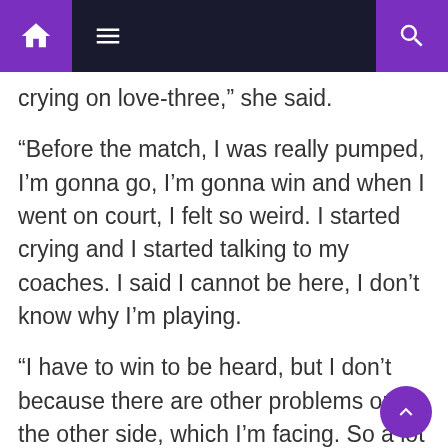Navigation bar with home, menu, and search icons
crying on love-three,” she said.
“Before the match, I was really pumped, I’m gonna go, I’m gonna win and when I went on court, I felt so weird. I started crying and I started talking to my coaches. I said I cannot be here, I don’t know why I’m playing.
“I have to win to be heard, but I don’t because there are other problems on the other side, which I’m facing. So a lot of pressure around. Suddenly there were